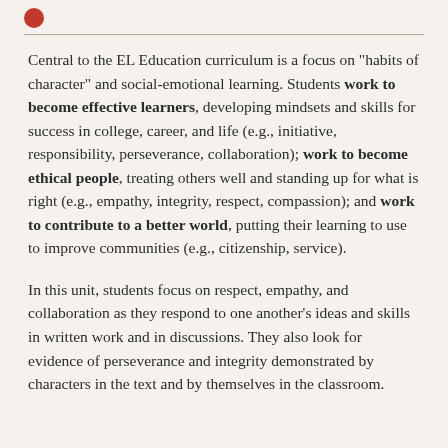Central to the EL Education curriculum is a focus on "habits of character" and social-emotional learning. Students work to become effective learners, developing mindsets and skills for success in college, career, and life (e.g., initiative, responsibility, perseverance, collaboration); work to become ethical people, treating others well and standing up for what is right (e.g., empathy, integrity, respect, compassion); and work to contribute to a better world, putting their learning to use to improve communities (e.g., citizenship, service).
In this unit, students focus on respect, empathy, and collaboration as they respond to one another's ideas and skills in written work and in discussions. They also look for evidence of perseverance and integrity demonstrated by characters in the text and by themselves in the classroom.